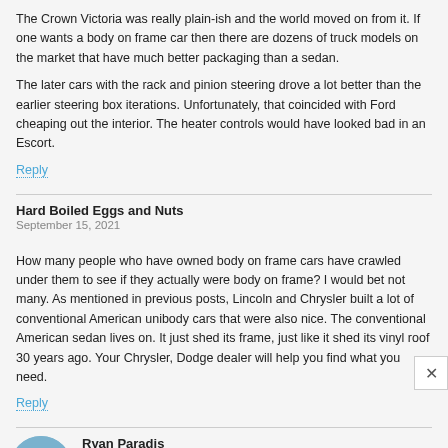The Crown Victoria was really plain-ish and the world moved on from it. If one wants a body on frame car then there are dozens of truck models on the market that have much better packaging than a sedan.
The later cars with the rack and pinion steering drove a lot better than the earlier steering box iterations. Unfortunately, that coincided with Ford cheaping out the interior. The heater controls would have looked bad in an Escort.
Reply
Hard Boiled Eggs and Nuts
September 15, 2021
How many people who have owned body on frame cars have crawled under them to see if they actually were body on frame? I would bet not many. As mentioned in previous posts, Lincoln and Chrysler built a lot of conventional American unibody cars that were also nice. The conventional American sedan lives on. It just shed its frame, just like it shed its vinyl roof 30 years ago. Your Chrysler, Dodge dealer will help you find what you need.
Reply
Ryan Paradis
September 15, 2021
Thank you everyone for your comments.
I reflect, 10 years on, that the demise of the full-size sedan (heck, the sedan period)